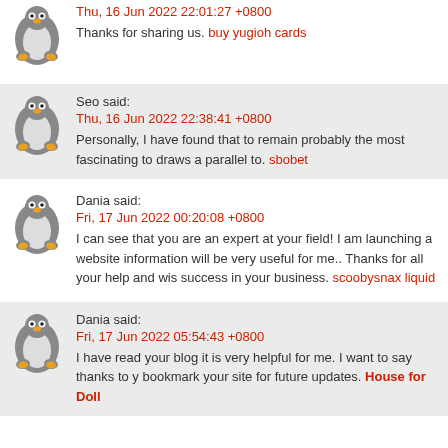Thu, 16 Jun 2022 22:01:27 +0800
Thanks for sharing us. buy yugioh cards
Seo said:
Thu, 16 Jun 2022 22:38:41 +0800
Personally, I have found that to remain probably the most fascinating to draws a parallel to. sbobet
Dania said:
Fri, 17 Jun 2022 00:20:08 +0800
I can see that you are an expert at your field! I am launching a website information will be very useful for me.. Thanks for all your help and wis success in your business. scoobysnax liquid
Dania said:
Fri, 17 Jun 2022 05:54:43 +0800
I have read your blog it is very helpful for me. I want to say thanks to y bookmark your site for future updates. House for Doll